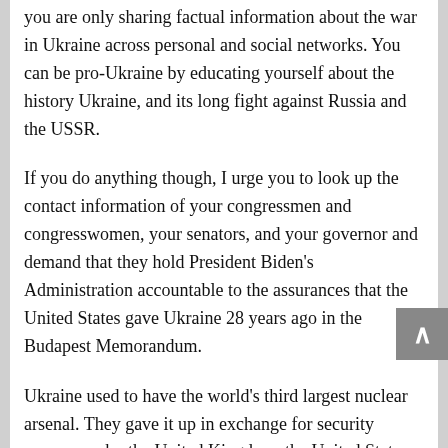you are only sharing factual information about the war in Ukraine across personal and social networks. You can be pro-Ukraine by educating yourself about the history Ukraine, and its long fight against Russia and the USSR.
If you do anything though, I urge you to look up the contact information of your congressmen and congresswomen, your senators, and your governor and demand that they hold President Biden's Administration accountable to the assurances that the United States gave Ukraine 28 years ago in the Budapest Memorandum.
Ukraine used to have the world's third largest nuclear arsenal. They gave it up in exchange for security assurances by the United Kingdom, the United States, and Russia. Russia has been breaking those promises since 2014.